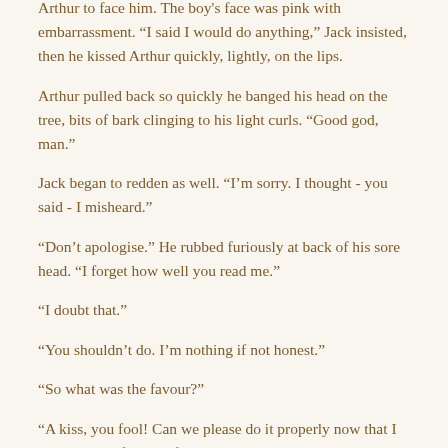Arthur to face him. The boy's face was pink with embarrassment. “I said I would do anything,” Jack insisted, then he kissed Arthur quickly, lightly, on the lips.
Arthur pulled back so quickly he banged his head on the tree, bits of bark clinging to his light curls. “Good god, man.”
Jack began to redden as well. “I’m sorry. I thought - you said - I misheard.”
“Don’t apologise.” He rubbed furiously at back of his sore head. “I forget how well you read me.”
“I doubt that.”
“You shouldn’t do. I’m nothing if not honest.”
“So what was the favour?”
“A kiss, you fool! Can we please do it properly now that I am capable of asking for it?”
“I gave you a kiss. You seemed taken aback.”
“I was rather surprised you actually did it. And poorly